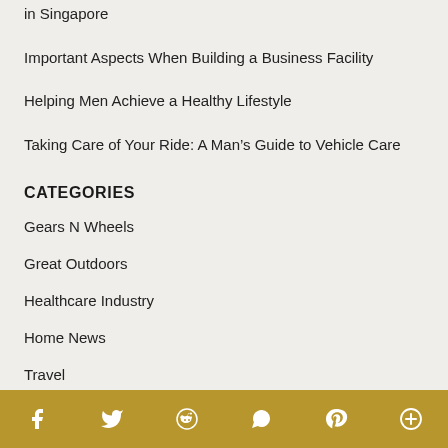in Singapore
Important Aspects When Building a Business Facility
Helping Men Achieve a Healthy Lifestyle
Taking Care of Your Ride: A Man’s Guide to Vehicle Care
CATEGORIES
Gears N Wheels
Great Outdoors
Healthcare Industry
Home News
Travel
Uncategorized
ARCHIVES
Social share bar with icons: Facebook, Twitter, Reddit, WhatsApp, Pinterest, More